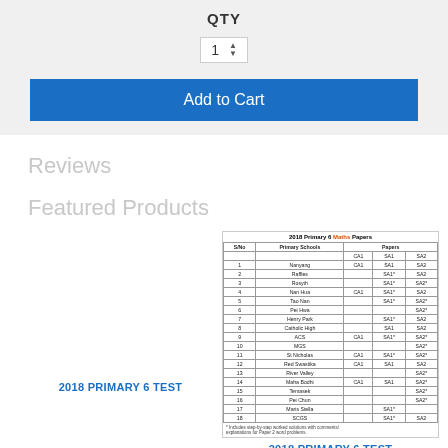QTY
1 (quantity spinner)
Add to Cart
Reviews
Featured Products
[Figure (table-as-image): 2018 Primary 6 Maths Papers table listing primary schools and their available papers (CA1, SA1, SA2)]
2018 PRIMARY 6 TEST
2018 PRIMARY 6 TEST